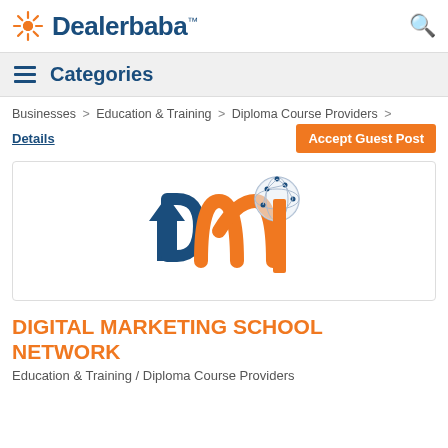Dealerbaba™
Categories
Businesses > Education & Training > Diploma Course Providers > Details
Accept Guest Post
[Figure (logo): Digital Marketing School Network (DMSN) logo — navy blue letter D with upward arrow and orange letter M with a globe/network orb, followed by an orange vertical bar (letter I)]
DIGITAL MARKETING SCHOOL NETWORK
Education & Training / Diploma Course Providers